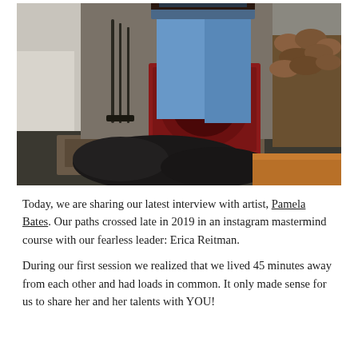[Figure (photo): A person in blue jeans standing near a red fireplace insert with firewood stacked to the right, fireplace tools on the left, a white sofa partially visible, and a large dark dog lying on a patterned rug in the foreground. A wooden table corner is visible at bottom right.]
Today, we are sharing our latest interview with artist, Pamela Bates. Our paths crossed late in 2019 in an instagram mastermind course with our fearless leader: Erica Reitman.
During our first session we realized that we lived 45 minutes away from each other and had loads in common. It only made sense for us to share her and her talents with YOU!